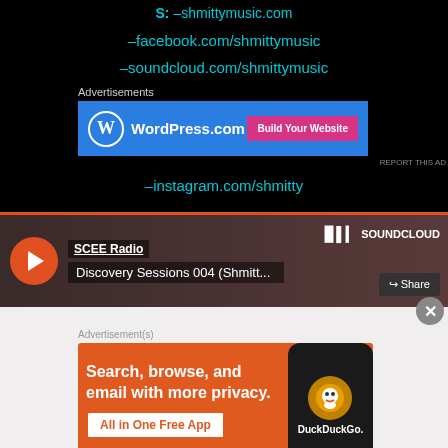S: –shmittymusic.com
–facebook.com/shmittymusic
–soundcloud.com/shmittymusic
Advertisements
[Figure (other): WordPress.com advertisement banner with blue background and pink 'Build Your Website' button]
REPORT THIS AD
–instagram.com/shmitty
[Figure (other): SoundCloud embedded player showing SCEE Radio - Discovery Sessions 004 (Shmitt...) with play button and share button]
Advertisement(s)
[Figure (other): DuckDuckGo advertisement: Search, browse, and email with more privacy. All in One Free App]